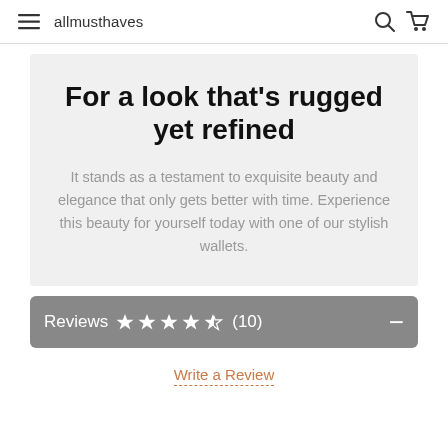allmusthaves
For a look that’s rugged yet refined
It stands as a testament to exquisite beauty and elegance that only gets better with time. Experience this beauty for yourself today with one of our stylish wallets.
Reviews ★★★★½ (10)
Write a Review